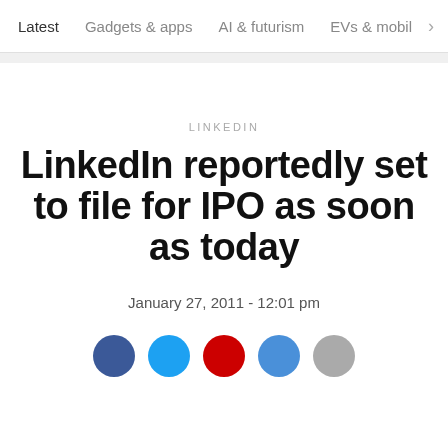Latest   Gadgets & apps   AI & futurism   EVs & mobil  >
LINKEDIN
LinkedIn reportedly set to file for IPO as soon as today
January 27, 2011 - 12:01 pm